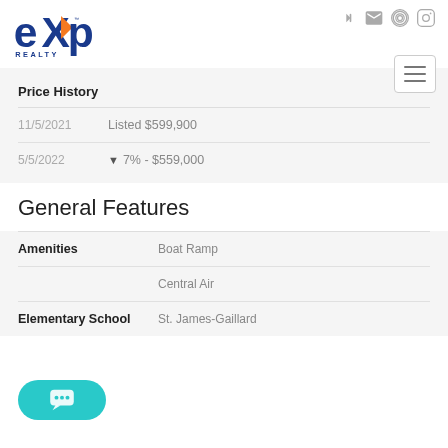[Figure (logo): eXp Realty logo]
Price History
| Date | Event |
| --- | --- |
| 11/5/2021 | Listed $599,900 |
| 5/5/2022 | ▼ 7% - $559,000 |
General Features
| Feature | Value |
| --- | --- |
| Amenities | Boat Ramp |
|  | Central Air |
| Elementary School | St. James-Gaillard |